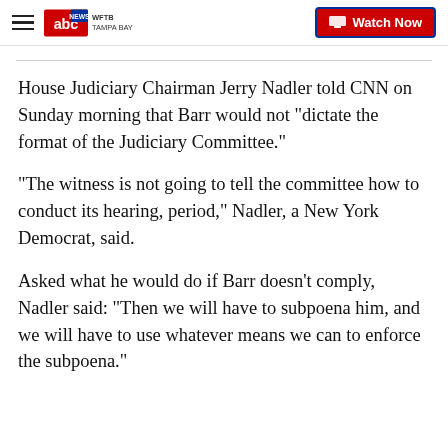WFTB TAMPA BAY ABC News | Watch Now
House Judiciary Chairman Jerry Nadler told CNN on Sunday morning that Barr would not "dictate the format of the Judiciary Committee."
"The witness is not going to tell the committee how to conduct its hearing, period," Nadler, a New York Democrat, said.
Asked what he would do if Barr doesn't comply, Nadler said: "Then we will have to subpoena him, and we will have to use whatever means we can to enforce the subpoena."